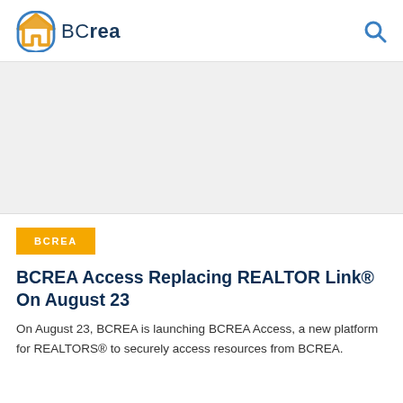BCrea
[Figure (illustration): Hero image area placeholder (white/light gray rectangle)]
BCREA
BCREA Access Replacing REALTOR Link® On August 23
On August 23, BCREA is launching BCREA Access, a new platform for REALTORS® to securely access resources from BCREA.